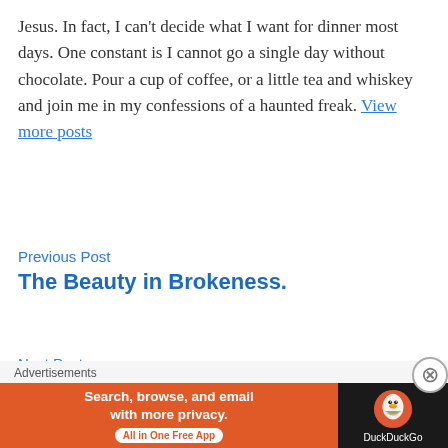Jesus. In fact, I can't decide what I want for dinner most days. One constant is I cannot go a single day without chocolate. Pour a cup of coffee, or a little tea and whiskey and join me in my confessions of a haunted freak. View more posts
Previous Post
The Beauty in Brokeness.
Next Post
Just Be You
[Figure (screenshot): DuckDuckGo advertisement banner: orange background with white text 'Search, browse, and email with more privacy. All in One Free App' and DuckDuckGo logo on dark background]